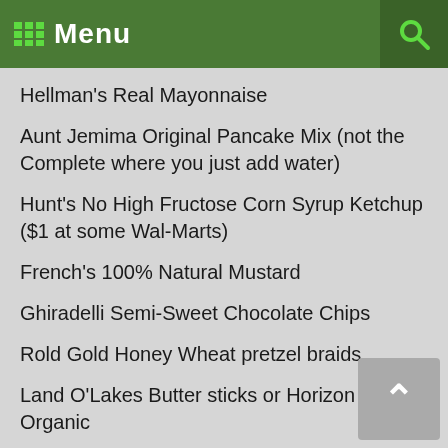Menu
Hellman's Real Mayonnaise
Aunt Jemima Original Pancake Mix (not the Complete where you just add water)
Hunt's No High Fructose Corn Syrup Ketchup ($1 at some Wal-Marts)
French's 100% Natural Mustard
Ghiradelli Semi-Sweet Chocolate Chips
Rold Gold Honey Wheat pretzel braids
Land O'Lakes Butter sticks or Horizon Organic
Sierra Mist Natural (No corn syrup! – not approved but seems OK)
Seventh Generation Diapers ($2 cheaper at Woodman's than Whole Foods)